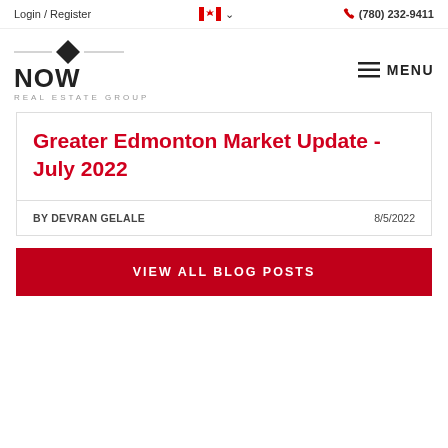Login / Register   (780) 232-9411
[Figure (logo): NOW Real Estate Group logo with diamond shape above the word NOW and REAL ESTATE GROUP below]
Greater Edmonton Market Update - July 2022
BY DEVRAN GELALE   8/5/2022
VIEW ALL BLOG POSTS